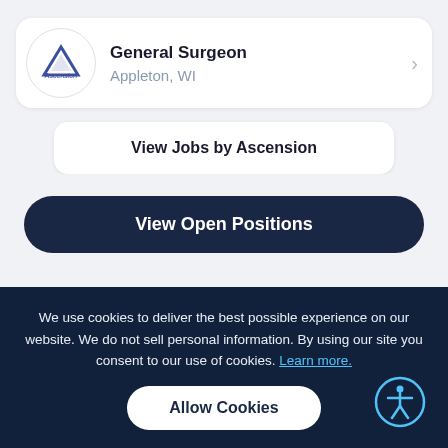[Figure (logo): Ascension healthcare logo in a white circle]
General Surgeon
Appleton, WI
View Jobs by Ascension
View Open Positions
We use cookies to deliver the best possible experience on our website. We do not sell personal information. By using our site you consent to our use of cookies. Learn more.
Allow Cookies